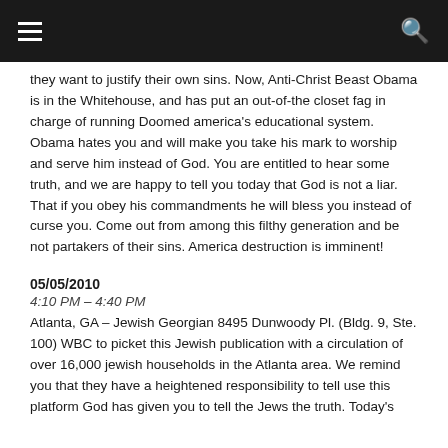Navigation bar with hamburger menu and search icon
they want to justify their own sins. Now, Anti-Christ Beast Obama is in the Whitehouse, and has put an out-of-the closet fag in charge of running Doomed america's educational system. Obama hates you and will make you take his mark to worship and serve him instead of God. You are entitled to hear some truth, and we are happy to tell you today that God is not a liar. That if you obey his commandments he will bless you instead of curse you. Come out from among this filthy generation and be not partakers of their sins. America destruction is imminent!
05/05/2010
4:10 PM – 4:40 PM
Atlanta, GA – Jewish Georgian 8495 Dunwoody Pl. (Bldg. 9, Ste. 100) WBC to picket this Jewish publication with a circulation of over 16,000 jewish households in the Atlanta area. We remind you that they have a heightened responsibility to tell use this platform God has given you to tell the Jews the truth. Today's